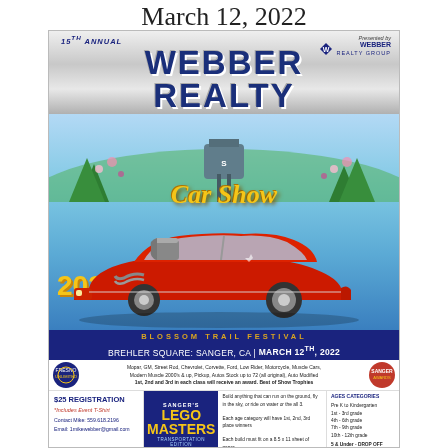March 12, 2022
[Figure (illustration): 15th Annual Webber Realty Car Show 2022 Blossom Trail Festival event poster featuring a red classic hot rod car, event details at Brehler Square: Sanger, CA on March 12th 2022, Lego Masters Transportation Edition contest info, registration $25 including event T-shirt.]
Mopar, GM, Street Rod, Chevrolet, Corvette, Ford, Low Rider, Motorcycle, Muscle Cars, Modern Muscle 2000's & up, Pickup, Autos Stock up to 72 (all original), Auto Modified
1st, 2nd and 3rd in each class will receive an award. Best of Show Trophies
$25 REGISTRATION *Includes Event T-Shirt
Contact Mike: 559.618.2196
Email: 1mikewebber@gmail.com
SANGER'S LEGO MASTERS TRANSPORTATION EDITION
Build anything that can run on the ground, fly in the sky, or ride on water of the all 3.
Each age category will have 1st, 2nd, 3rd place winners
Each build must fit on a 8.5 x 11 sheet of paper
AGES CATEGORIES
Pre K to Kindergarten
1st - 3rd grade
4th - 6th grade
7th - 9th grade
10th - 12th grade
5 & Under - DROP OFF
10-12pm - COMPETITION